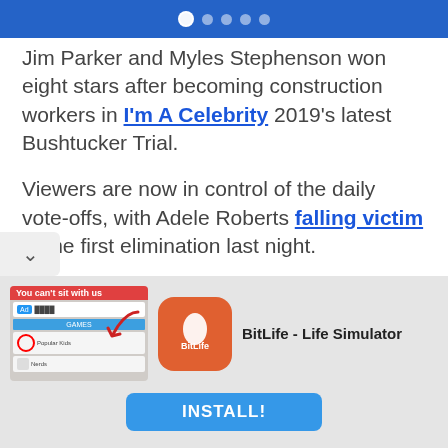navigation dots indicator
Jim Carter and Myles Stephenson won eight stars after becoming construction workers in I'm A Celebrity 2019's latest Bushtucker Trial.
Viewers are now in control of the daily vote-offs, with Adele Roberts falling victim to the first elimination last night.
That means the power to decide who competes in the Trials has shifted to the celebs themselves.
[Figure (screenshot): Advertisement banner for BitLife - Life Simulator app with game screenshot, app icon, and INSTALL! button]